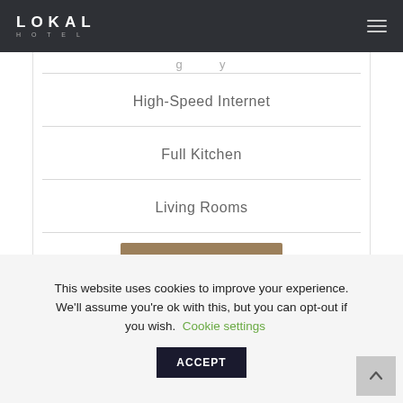LOKAL HOTEL
High-Speed Internet
Full Kitchen
Living Rooms
This website uses cookies to improve your experience. We'll assume you're ok with this, but you can opt-out if you wish. Cookie settings ACCEPT